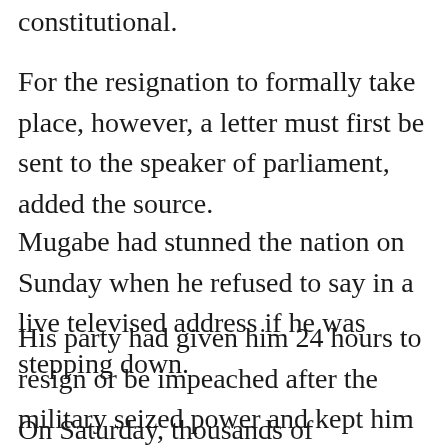constitutional.
For the resignation to formally take place, however, a letter must first be sent to the speaker of parliament, added the source.
Mugabe had stunned the nation on Sunday when he refused to say in a live televised address if he was stepping down.
His party had given him 24 hours to resign or be impeached after the military seized power and kept him under house arrest.
On Saturday, thousands of Zimbabweans had taken to